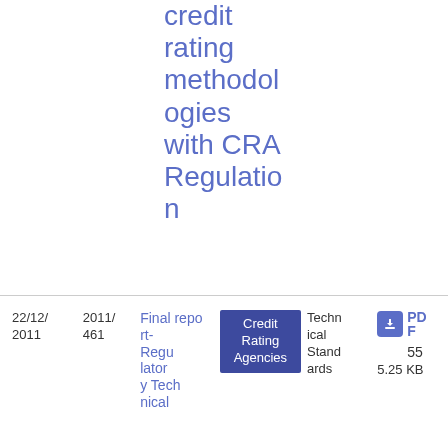credit rating methodologies with CRA Regulation
| Date | Number | Title | Tag | Type | Download |
| --- | --- | --- | --- | --- | --- |
| 22/12/2011 | 2011/461 | Final report-Regulatory Technical | Credit Rating Agencies | Technical Standards | PDF 55 5.25 KB |